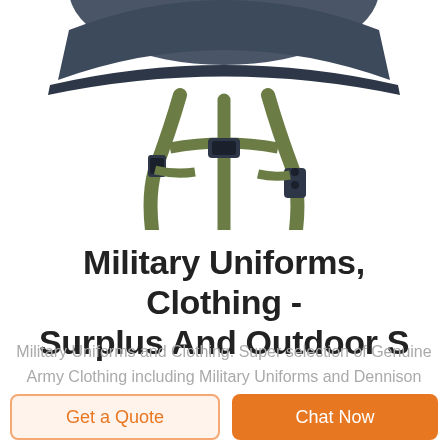[Figure (photo): Close-up photo of the underside/strap system of a military helmet with olive green webbing straps and dark buckles against a white background]
Military Uniforms, Clothing - Surplus And Outdoor S
Military Uniforms and Clothing. Super selection of Genuine Army Clothing including Military Uniforms and Dennison smocks. We also sell RAF Great coats Like on